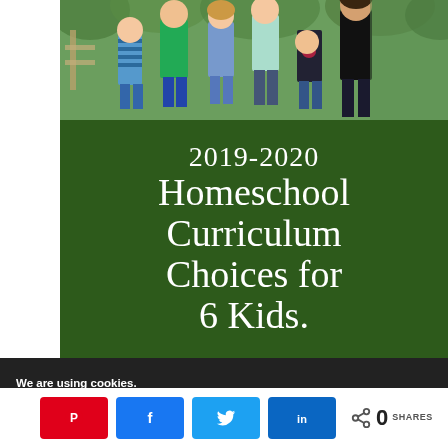[Figure (photo): Group photo of six children/teens standing outdoors in front of green foliage]
2019-2020 Homeschool Curriculum Choices for 6 Kids.
We are using cookies. Find out more or switch them off in settings.
[Figure (infographic): Social share bar with Pinterest, Facebook, Twitter, LinkedIn buttons and share count of 0 SHARES]